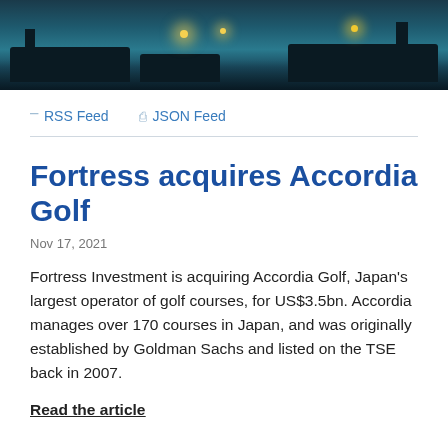[Figure (photo): Night-time harbor scene with dark boat silhouettes and yellow light reflections on water]
RSS Feed   JSON Feed
Fortress acquires Accordia Golf
Nov 17, 2021
Fortress Investment is acquiring Accordia Golf, Japan's largest operator of golf courses, for US$3.5bn. Accordia manages over 170 courses in Japan, and was originally established by Goldman Sachs and listed on the TSE back in 2007.
Read the article